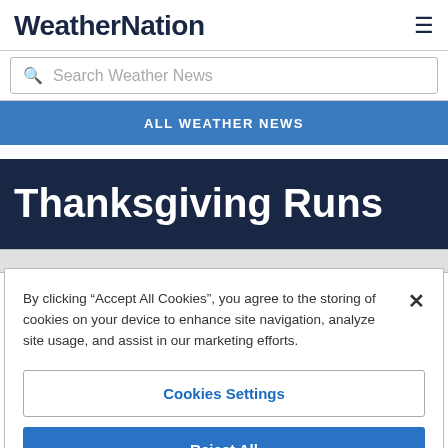WeatherNation
Search Weather News
ALL WEATHER NEWS
Thanksgiving Runs
By clicking “Accept All Cookies”, you agree to the storing of cookies on your device to enhance site navigation, analyze site usage, and assist in our marketing efforts.
Cookies Settings
Reject All